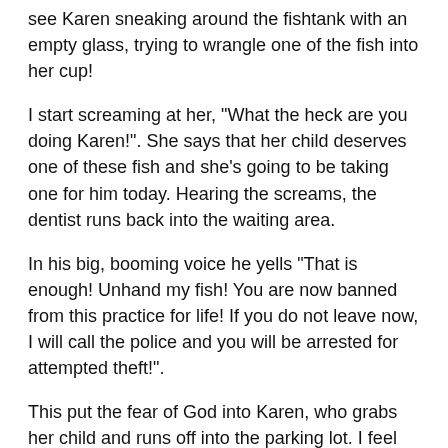see Karen sneaking around the fishtank with an empty glass, trying to wrangle one of the fish into her cup!
I start screaming at her, "What the heck are you doing Karen!". She says that her child deserves one of these fish and she's going to be taking one for him today. Hearing the screams, the dentist runs back into the waiting area.
In his big, booming voice he yells "That is enough! Unhand my fish! You are now banned from this practice for life! If you do not leave now, I will call the police and you will be arrested for attempted theft!".
This put the fear of God into Karen, who grabs her child and runs off into the parking lot. I feel bad for the kid, he seemed very well behaved and didn't cry or put up a fuss at all. He must get that from his father.